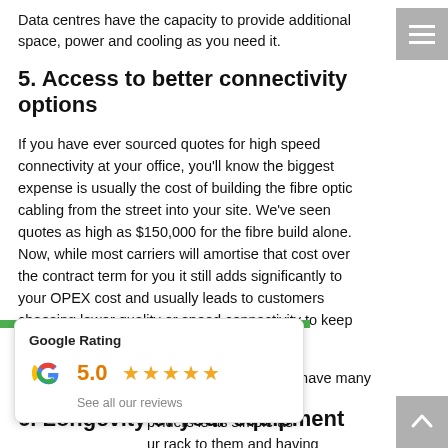Data centres have the capacity to provide additional space, power and cooling as you need it.
5. Access to better connectivity options
If you have ever sourced quotes for high speed connectivity at your office, you'll know the biggest expense is usually the cost of building the fibre optic cabling from the street into your site. We've seen quotes as high as $150,000 for the fibre build alone. Now, while most carriers will amortise that cost over the contract term for you it still adds significantly to your OPEX cost and usually leads to customers choosing lower quality or speed connectivity to keep within budget.
Data centres are usually carrier neutral and have many [carriers] connected or 'on-net' in their [facilities]. [Connecting to providers is as simple as] [connecting] your rack to them and having [a cross connect].
[Figure (other): Google Rating overlay widget showing 5.0 rating with 5 stars and 'See all our reviews' link]
6. Longevity of your equipment